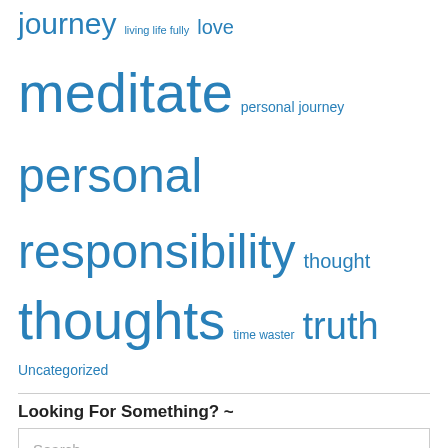[Figure (other): Tag cloud with various blog category/tag links in different font sizes, all in blue. Tags include: journey, living life fully, love, meditate, personal journey, personal responsibility, thought, thoughts, time waster, truth, Uncategorized]
Looking For Something? ~
Search
Meta
Register
Log in
Entries feed
Comments feed
WordPress.com